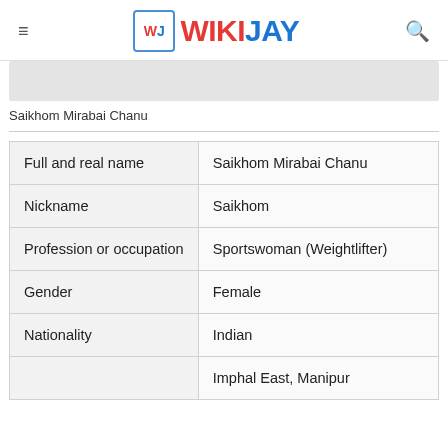WIKIJAY
[Figure (photo): Partial photo/image of Saikhom Mirabai Chanu (cropped, shown as grey strip)]
Saikhom Mirabai Chanu
| Full and real name | Saikhom Mirabai Chanu |
| Nickname | Saikhom |
| Profession or occupation | Sportswoman (Weightlifter) |
| Gender | Female |
| Nationality | Indian |
|  | Imphal East, Manipur |